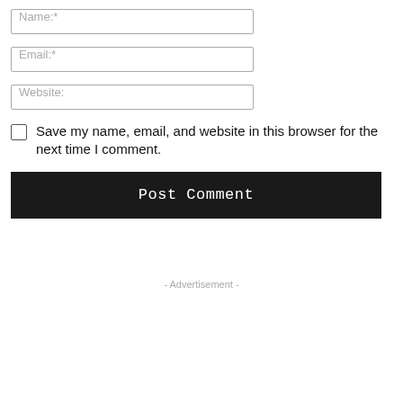Name:*
Email:*
Website:
Save my name, email, and website in this browser for the next time I comment.
Post Comment
- Advertisement -